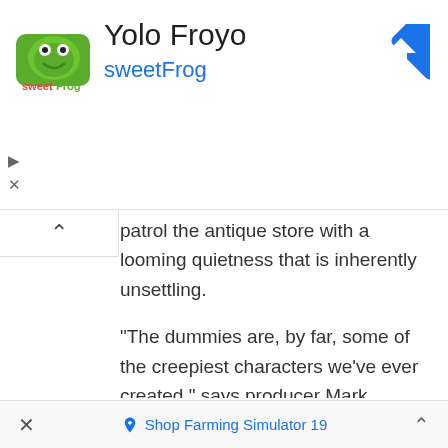[Figure (logo): sweetFrog logo - green frog illustration]
Yolo Froyo
sweetFrog
[Figure (other): Blue diamond navigation/directions arrow icon]
patrol the antique store with a looming quietness that is inherently unsettling.
“The dummies are, by far, some of the creepiest characters we’ve ever created,” says producer Mark Nielsen. “Our animators really leaned into the truth in materials for how our ventriloquist dummies move. Dummies’ bodies are soft with no structure, so our dummies’ arms just dangle and their legs bend backwards. Throw in their fixed expressions with their wide eyes and big hinged jaws and
×   Shop Farming Simulator 19   ˄